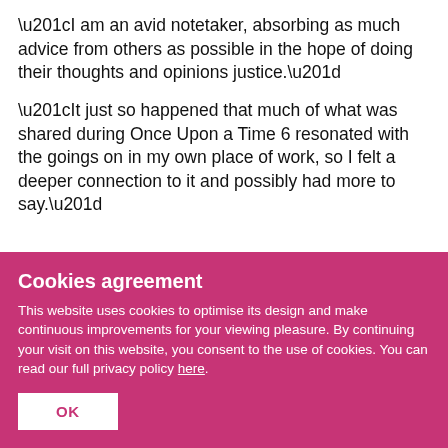“I am an avid notetaker, absorbing as much advice from others as possible in the hope of doing their thoughts and opinions justice.”
“It just so happened that much of what was shared during Once Upon a Time 6 resonated with the goings on in my own place of work, so I felt a deeper connection to it and possibly had more to say.”
Cookies agreement
This website uses cookies to optimise its design and make continuous improvements for your viewing pleasure. By continuing your visit on this website, you consent to the use of cookies. You can read our full privacy policy here.
OK